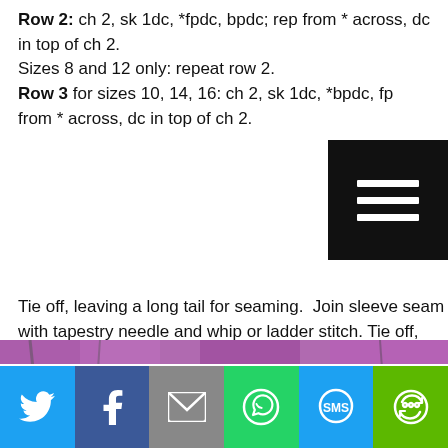Row 2: ch 2, sk 1dc, *fpdc, bpdc; rep from * across, dc in top of ch 2.
Sizes 8 and 12 only: repeat row 2.
Row 3 for sizes 10, 14, 16: ch 2, sk 1dc, *bpdc, fpdc; rep from * across, dc in top of ch 2.
Tie off, leaving a long tail for seaming.  Join sleeve seam with tapestry needle and whip or ladder stitch. Tie off, weave in loose ends.
Repeat for the other sleeve.
[Figure (photo): Woman with long brown hair wearing a grey crochet sweater, standing in front of purple/pink flowering branches, photographed from behind/side.]
[Figure (other): Social sharing bar with Twitter, Facebook, Email, WhatsApp, SMS, and More buttons.]